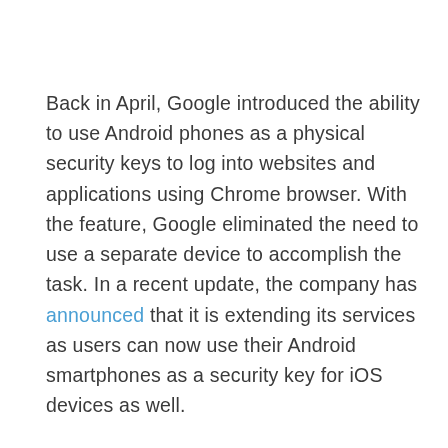Back in April, Google introduced the ability to use Android phones as a physical security keys to log into websites and applications using Chrome browser. With the feature, Google eliminated the need to use a separate device to accomplish the task. In a recent update, the company has announced that it is extending its services as users can now use their Android smartphones as a security key for iOS devices as well.